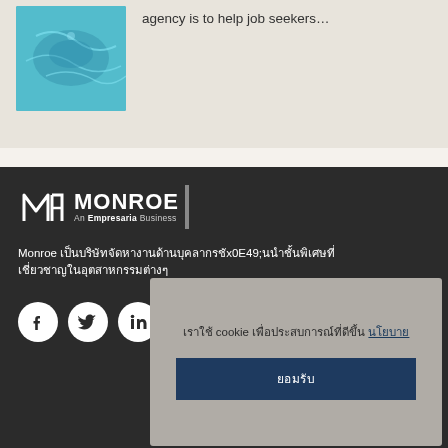[Figure (photo): Underwater photo showing a person swimming, teal/blue water tones]
agency is to help job seekers…
[Figure (logo): Monroe - An Empresaria Business logo, white text on dark background with vertical bar]
Monroe [Thai script text describing the company]
[Figure (other): Social media icons: Facebook, Twitter, LinkedIn, Instagram - white circles on dark background]
[Thai script] cookie [Thai script] [Thai link text]
[Thai script button text]